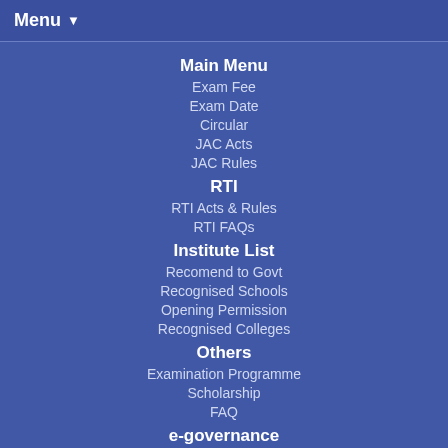Menu ▼
Main Menu
Exam Fee
Exam Date
Circular
JAC Acts
JAC Rules
RTI
RTI Acts & Rules
RTI FAQs
Institute List
Recomend to Govt
Recognised Schools
Opening Permission
Recognised Colleges
Others
Examination Programme
Scholarship
FAQ
e-governance
Election Commission of India
Website Policies
Terms & Conditions
Privacy Policy